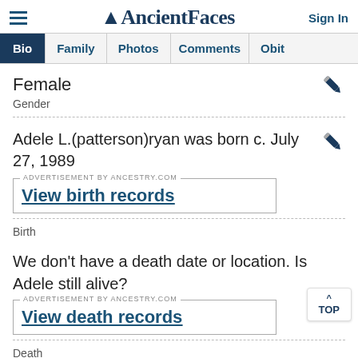AncientFaces — Sign In
Bio | Family | Photos | Comments | Obit
Female
Gender
Adele L.(patterson)ryan was born c. July 27, 1989
ADVERTISEMENT BY ANCESTRY.COM — View birth records
Birth
We don't have a death date or location. Is Adele still alive?
ADVERTISEMENT BY ANCESTRY.COM — View death records
Death